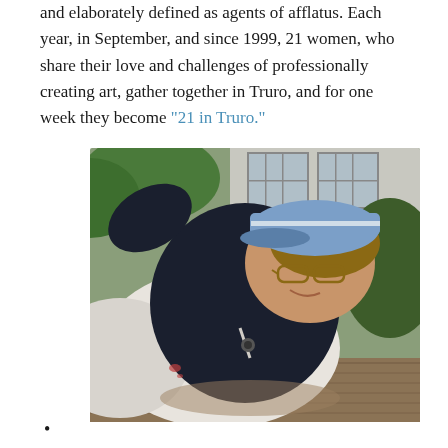and elaborately defined as agents of afflatus. Each year, in September, and since 1999, 21 women, who share their love and challenges of professionally creating art, gather together in Truro, and for one week they become "21 in Truro."
[Figure (photo): A woman wearing a blue cap, glasses, and a dark navy sweater over a white apron, leaning forward and smiling at the camera. She appears to be outdoors on a wooden deck, with a house and greenery visible in the background.]
•